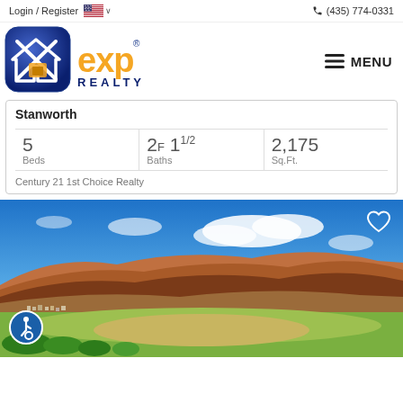Login / Register   🇺🇸 ∨   (435) 774-0331
[Figure (logo): eXp Realty logo — blue rounded square with house/X icon and orange 'exp' text with 'REALTY' below]
MENU
Stanworth
| Beds | Baths | Sq.Ft. |
| --- | --- | --- |
| 5 | 2F 11/2 | 2,175 |
Century 21 1st Choice Realty
[Figure (photo): Aerial/elevated landscape photo showing a valley with green fields, suburban homes, red sandstone hills and blue sky with clouds in the background. Utah desert landscape.]